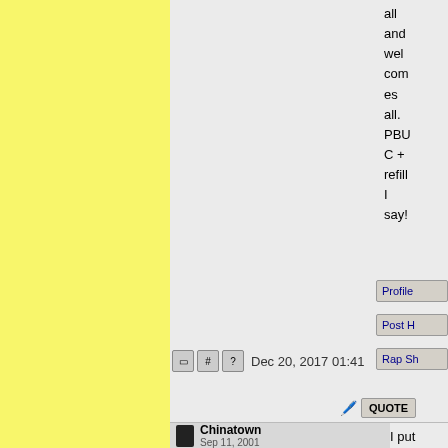all and welcomes all. PBUC + refill I say!
Dec 20, 2017 01:41
Profile
Post H
Rap Sh
QUOTE
Chinatown Sep 11, 2001
I put an